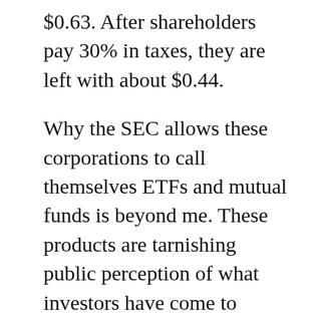$0.63. After shareholders pay 30% in taxes, they are left with about $0.44.
Why the SEC allows these corporations to call themselves ETFs and mutual funds is beyond me. These products are tarnishing public perception of what investors have come to expect over the last 73 years. For the first year or so, I was the lone voice alerting the public about the horrendous expenses of these C-corporations masquerading as ETFs. Some sponsors even tried to shut me up.
MLP funds have been exploiting accounting loopholes in order to keep investors in the dark about their true expenses. However, it is now catching up with them. There are currently five MLP ETFs listed for trading on U.S. exchanges. Each one uses the C-corporation structure, and all